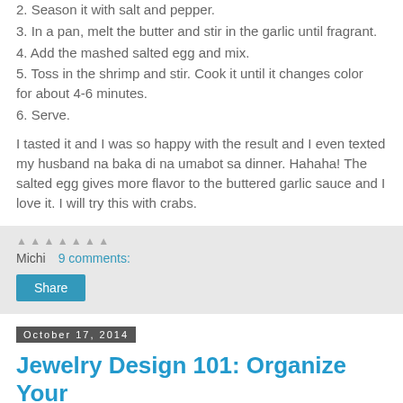2. Season it with salt and pepper.
3. In a pan, melt the butter and stir in the garlic until fragrant.
4. Add the mashed salted egg and mix.
5. Toss in the shrimp and stir. Cook it until it changes color for about 4-6 minutes.
6. Serve.
I tasted it and I was so happy with the result and I even texted my husband na baka di na umabot sa dinner. Hahaha! The salted egg gives more flavor to the buttered garlic sauce and I love it. I will try this with crabs.
Michi   9 comments:
Share
October 17, 2014
Jewelry Design 101: Organize Your Supplies in a Jiffy
You've got a ton of jewelry making paraphernalia laying...